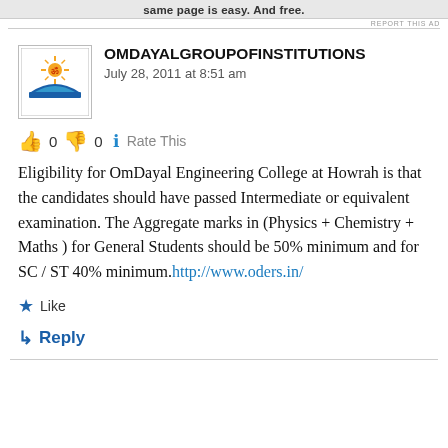same page is easy. And free.
REPORT THIS AD
OMDAYALGROUPOFINSTITUTIONS
July 28, 2011 at 8:51 am
👍 0 👎 0 ℹ Rate This
Eligibility for OmDayal Engineering College at Howrah is that the candidates should have passed Intermediate or equivalent examination. The Aggregate marks in (Physics + Chemistry + Maths ) for General Students should be 50% minimum and for SC / ST 40% minimum. http://www.oders.in/
★ Like
↳ Reply